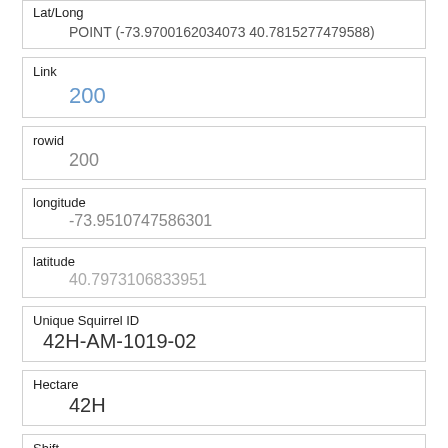| Lat/Long | POINT (-73.9700162034073 40.7815277479588) |
| Link | 200 |
| rowid | 200 |
| longitude | -73.9510747586301 |
| latitude | 40.7973106833951 |
| Unique Squirrel ID | 42H-AM-1019-02 |
| Hectare | 42H |
| Shift | AM |
| Date | 10192018 |
| Hectare Squirrel Number |  |